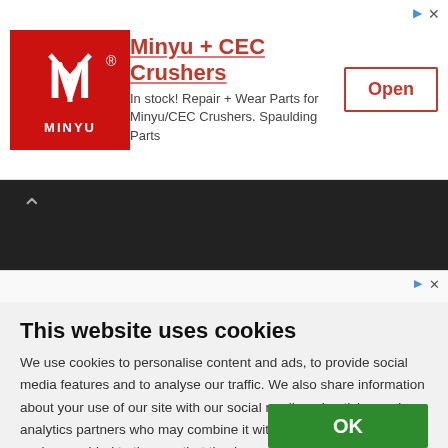[Figure (other): Advertisement banner for Minyu + CEC Crushers with logo, text and Open button]
[Figure (screenshot): Dark navigation bar with back chevron arrow]
[Figure (other): Second ad bar with AdChoices icon]
This website uses cookies
We use cookies to personalise content and ads, to provide social media features and to analyse our traffic. We also share information about your use of our site with our social media, advertising and analytics partners who may combine it with other information that you've provided to them or that they've collected from your use of their services